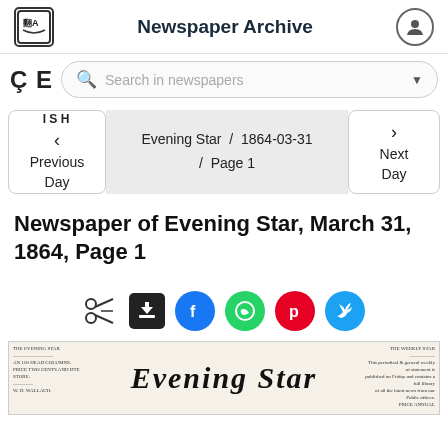Newspaper Archive
Search in newspapers
Previous Day   Evening Star / 1864-03-31 / Page 1   Next Day
Newspaper of Evening Star, March 31, 1864, Page 1
[Figure (screenshot): Social sharing icons: scissors/clip, download, Facebook, WhatsApp, Pinterest, Twitter]
[Figure (photo): Thumbnail of the Evening Star newspaper front page dated March 31, 1864, showing the masthead in ornate blackletter script reading 'Evening Star']